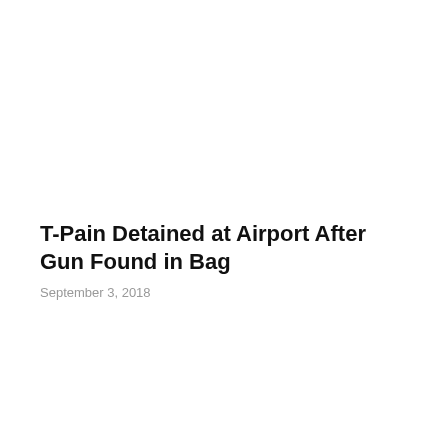T-Pain Detained at Airport After Gun Found in Bag
September 3, 2018